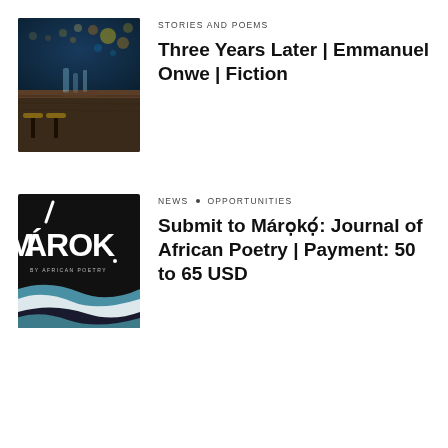[Figure (photo): Restaurant scene at night with tables and bokeh city lights in background]
STORIES AND POEMS
Three Years Later | Emmanuel Onwe | Fiction
[Figure (photo): Márọkọ: Journal of African Poetry book cover — dark background with white lettering and abstract wave shapes]
NEWS • OPPORTUNITIES
Submit to Márọkọ́: Journal of African Poetry | Payment: 50 to 65 USD